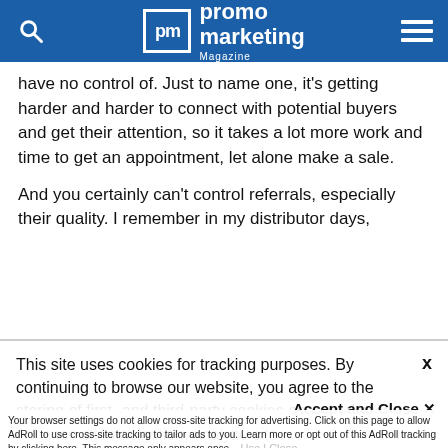promo marketing Magazine
have no control of. Just to name one, it's getting harder and harder to connect with potential buyers and get their attention, so it takes a lot more work and time to get an appointment, let alone make a sale.
And you certainly can’t control referrals, especially their quality. I remember in my distributor days,
This site uses cookies for tracking purposes. By continuing to browse our website, you agree to the storing of first- and third-party cookies on your device to enhance site navigation, analyze site usage, and assist in our marketing and
Accept and Close ×
Your browser settings do not allow cross-site tracking for advertising. Click on this page to allow AdRoll to use cross-site tracking to tailor ads to you. Learn more or opt out of this AdRoll tracking by clicking here. This message only appears once.